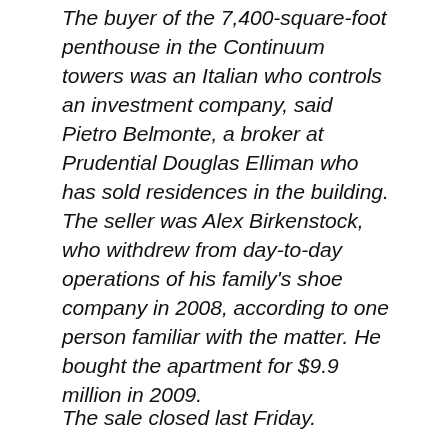The buyer of the 7,400-square-foot penthouse in the Continuum towers was an Italian who controls an investment company, said Pietro Belmonte, a broker at Prudential Douglas Elliman who has sold residences in the building. The seller was Alex Birkenstock, who withdrew from day-to-day operations of his family's shoe company in 2008, according to one person familiar with the matter. He bought the apartment for $9.9 million in 2009.
The sale closed last Friday.